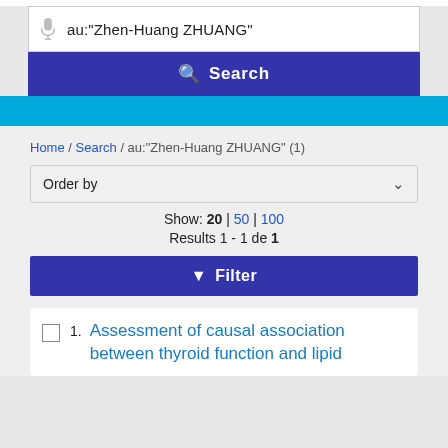au:"Zhen-Huang ZHUANG"
Search
Home / Search / au:"Zhen-Huang ZHUANG" (1)
Order by
Show: 20 | 50 | 100
Results 1 - 1 de 1
Filter
1. Assessment of causal association between thyroid function and lipid